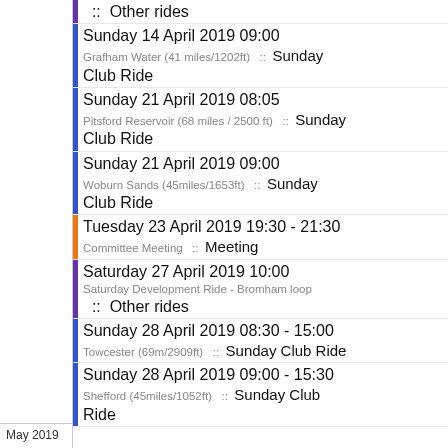:: Other rides
Sunday 14 April 2019 09:00 | Grafham Water (41 miles/1202ft) :: Sunday Club Ride
Sunday 21 April 2019 08:05 | Pitsford Reservoir (68 miles / 2500 ft) :: Sunday Club Ride
Sunday 21 April 2019 09:00 | Woburn Sands (45miles/1653ft) :: Sunday Club Ride
Tuesday 23 April 2019 19:30 - 21:30 | Committee Meeting :: Meeting
Saturday 27 April 2019 10:00 | Saturday Development Ride - Bromham loop :: Other rides
Sunday 28 April 2019 08:30 - 15:00 | Towcester (69m/2909ft) :: Sunday Club Ride
Sunday 28 April 2019 09:00 - 15:30 | Shefford (45miles/1052ft) :: Sunday Club Ride
May 2019